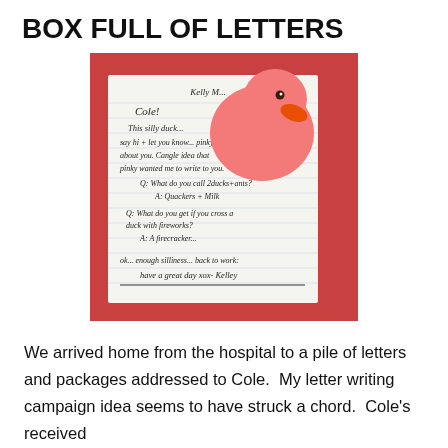BOX FULL OF LETTERS
[Figure (photo): A pink rubber duck sitting on top of a handwritten letter on a notepad, placed on a red/orange surface. The letter is addressed to Cole, contains duck jokes and a friendly message signed by Kelly.]
We arrived home from the hospital to a pile of letters and packages addressed to Cole.  My letter writing campaign idea seems to have struck a chord.  Cole's received